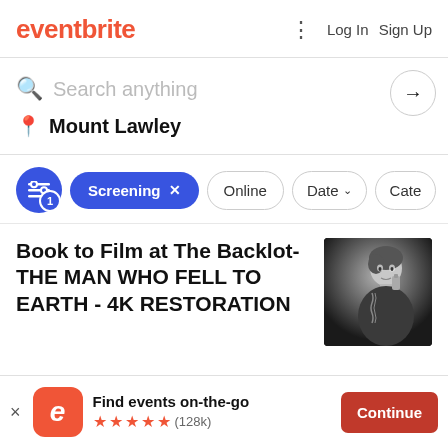eventbrite  Log In  Sign Up
Search anything
Mount Lawley
Screening x  Online  Date  Cate
Book to Film at The Backlot- THE MAN WHO FELL TO EARTH - 4K RESTORATION
[Figure (photo): Black and white photo of a person on the phone, looking to the side]
Find events on-the-go ★★★★★ (128k)  Continue